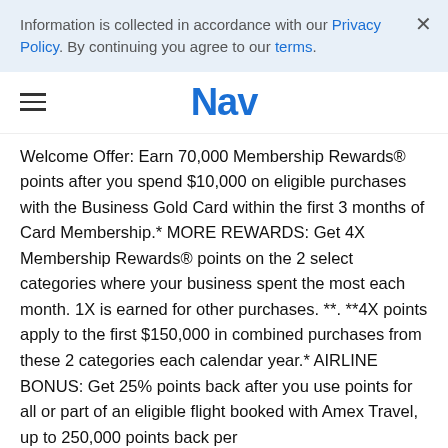Information is collected in accordance with our Privacy Policy. By continuing you agree to our terms.
Nav
Welcome Offer: Earn 70,000 Membership Rewards® points after you spend $10,000 on eligible purchases with the Business Gold Card within the first 3 months of Card Membership.* MORE REWARDS: Get 4X Membership Rewards® points on the 2 select categories where your business spent the most each month. 1X is earned for other purchases. **. **4X points apply to the first $150,000 in combined purchases from these 2 categories each calendar year.* AIRLINE BONUS: Get 25% points back after you use points for all or part of an eligible flight booked with Amex Travel, up to 250,000 points back per